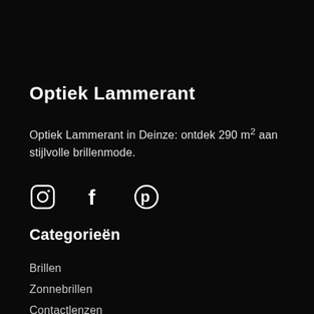Optiek Lammerant
Optiek Lammerant in Deinze: ontdek 290 m² aan stijlvolle brillenmode.
[Figure (other): Three social media icons: Instagram, Facebook, Pinterest]
Categorieën
Brillen
Zonnebrillen
Contactlenzen